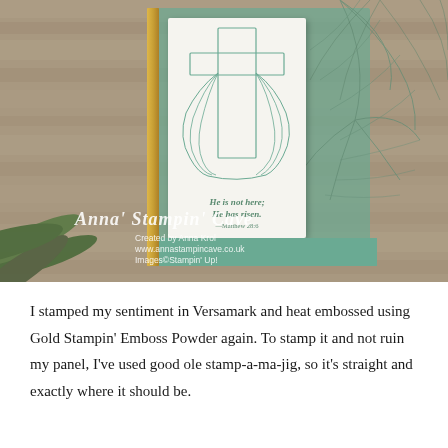[Figure (photo): A handmade Easter greeting card with a cross stamped in teal/mint on a white panel, with the sentiment 'He is not here; He has risen. —Matthew 28:6' stamped in gold. The card has a teal patterned panel with palm leaf designs, a gold strip accent, placed on a wooden background with green olive leaves. Anna' Stampin' Cave watermark logo with 'Created by Anna Krol, www.annastampincave.co.uk, Images©Stampin' Up!' text.]
I stamped my sentiment in Versamark and heat embossed using Gold Stampin' Emboss Powder again. To stamp it and not ruin my panel, I've used good ole stamp-a-ma-jig, so it's straight and exactly where it should be.